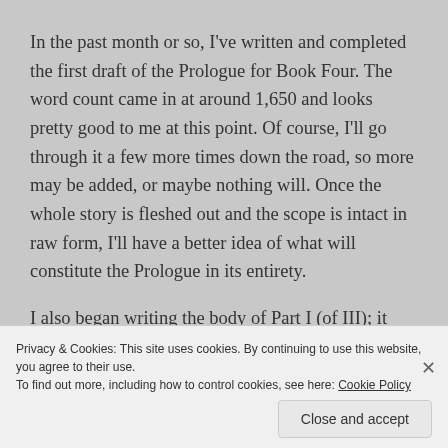In the past month or so, I've written and completed the first draft of the Prologue for Book Four. The word count came in at around 1,650 and looks pretty good to me at this point. Of course, I'll go through it a few more times down the road, so more may be added, or maybe nothing will. Once the whole story is fleshed out and the scope is intact in raw form, I'll have a better idea of what will constitute the Prologue in its entirety.
I also began writing the body of Part I (of III); it currently sits a little above 2,500 words. So hitting over 4,000
Privacy & Cookies: This site uses cookies. By continuing to use this website, you agree to their use.
To find out more, including how to control cookies, see here: Cookie Policy
Close and accept